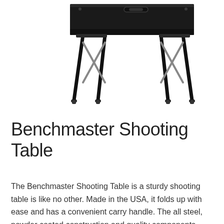[Figure (photo): A black folding shooting table with a flat rectangular top surface and X-cross steel legs on each side, photographed at a slight angle from above on a white background.]
Benchmaster Shooting Table
The Benchmaster Shooting Table is a sturdy shooting table is like no other. Made in the USA, it folds up with ease and has a convenient carry handle. The all steel, powder coated construction and quality components